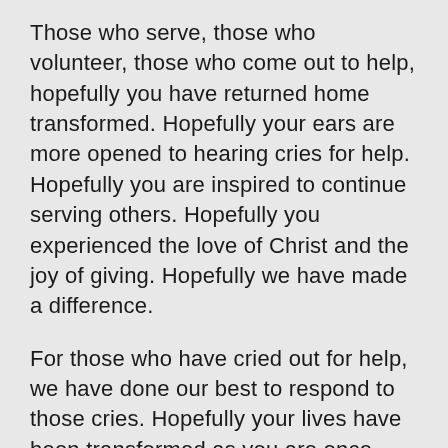Those who serve, those who volunteer, those who come out to help, hopefully you have returned home transformed.  Hopefully your ears are more opened to hearing cries for help.  Hopefully you are inspired to continue serving others.  Hopefully you experienced the love of Christ and the joy of giving.  Hopefully we have made a difference.
For those who have cried out for help, we have done our best to respond to those cries.  Hopefully your lives have been transformed as you are once again warm, safe, and secure in your home.  Hopefully we have been able to show you the love of Christ and just how valuable you are.  Hopefully we have made a difference.